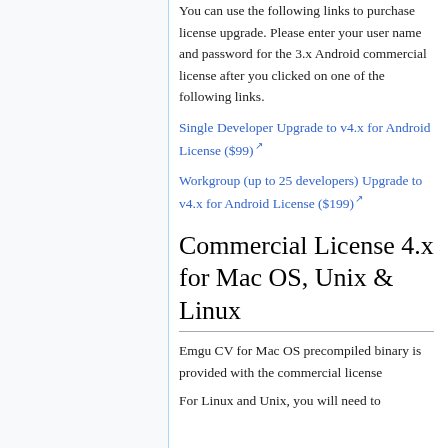You can use the following links to purchase license upgrade. Please enter your user name and password for the 3.x Android commercial license after you clicked on one of the following links.
Single Developer Upgrade to v4.x for Android License ($99)
Workgroup (up to 25 developers) Upgrade to v4.x for Android License ($199)
Commercial License 4.x for Mac OS, Unix & Linux
Emgu CV for Mac OS precompiled binary is provided with the commercial license
For Linux and Unix, you will need to